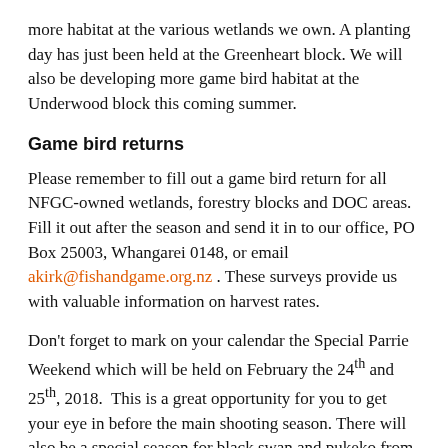more habitat at the various wetlands we own. A planting day has just been held at the Greenheart block. We will also be developing more game bird habitat at the Underwood block this coming summer.
Game bird returns
Please remember to fill out a game bird return for all NFGC-owned wetlands, forestry blocks and DOC areas. Fill it out after the season and send it in to our office, PO Box 25003, Whangarei 0148, or email akirk@fishandgame.org.nz . These surveys provide us with valuable information on harvest rates.
Don't forget to mark on your calendar the Special Parrie Weekend which will be held on February the 24th and 25th, 2018.  This is a great opportunity for you to get your eye in before the main shooting season. There will also be a special season for black swan and pukeko from February 24th to March 4, 2018, so make the most of this opportunity.
We are in the process of putting together a review of Northland's Sport Fish & Game Bird Management Plan